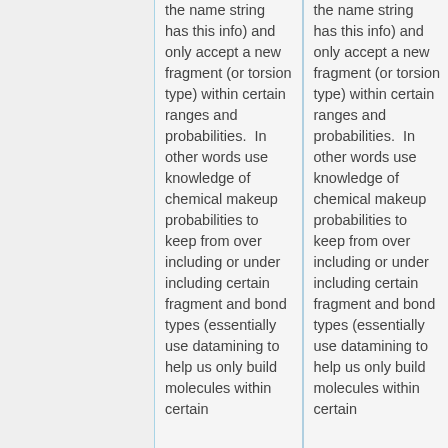the name string has this info) and only accept a new fragment (or torsion type) within certain ranges and probabilities.  In other words use knowledge of chemical makeup probabilities to keep from over including or under including certain fragment and bond types (essentially use datamining to help us only build molecules within certain
the name string has this info) and only accept a new fragment (or torsion type) within certain ranges and probabilities.  In other words use knowledge of chemical makeup probabilities to keep from over including or under including certain fragment and bond types (essentially use datamining to help us only build molecules within certain